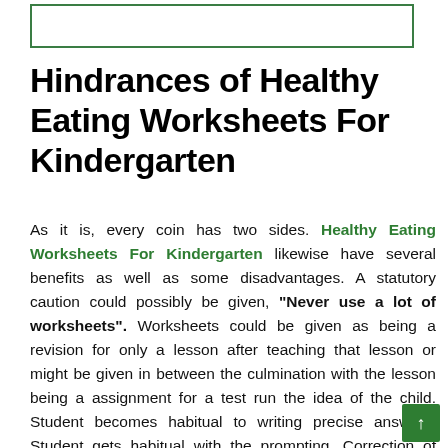[Figure (other): Empty bordered rectangle at top of page]
Hindrances of Healthy Eating Worksheets For Kindergarten
As it is, every coin has two sides. Healthy Eating Worksheets For Kindergarten likewise have several benefits as well as some disadvantages. A statutory caution could possibly be given, "Never use a lot of worksheets". Worksheets could be given as being a revision for only a lesson after teaching that lesson or might be given in between the culmination with the lesson being a assignment for a test run the idea of the child. Student becomes habitual to writing precise answers. Student gets habitual with the prompting. Correction of worksheets is a problem in a teacher. This could become difficult for a student to preserve the worksheets and arrange them based on the top. All said and done worksheets are surely the aids to assist the students effectively. Although they will be secondary, if one uses...